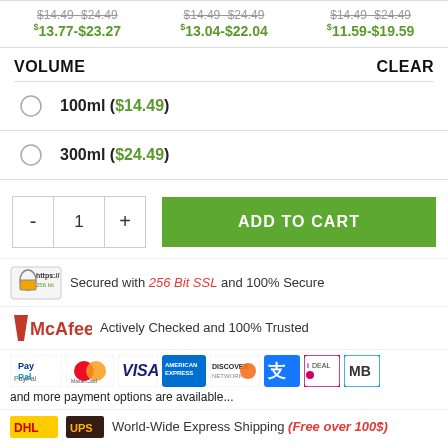| Col1 | Col2 | Col3 |
| --- | --- | --- |
| $14.49 -$24.49
$13.77-$23.27 | $14.49 -$24.49
$13.04-$22.04 | $14.49 -$24.49
$11.59-$19.59 |
VOLUME   CLEAR
100ml ($14.49)
300ml ($24.49)
- 1 +  ADD TO CART
https:// 256 bit  Secured with 256 Bit SSL and 100% Secure
McAfee  Actively Checked and 100% Trusted
PayPal MasterCard VISA AMERICAN EXPRESS DISCOVER and more payment options are available...
DHL UPS  World-Wide Express Shipping (Free over 100$)